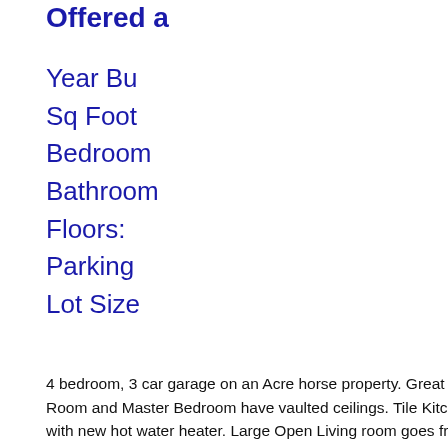Offered a
Year Bu
Sq Foot
Bedroom
Bathroom
Floors:
Parking
Lot Size
4 bedroom, 3 car garage on an Acre horse property. Great location at end o
Room and Master Bedroom have vaulted ceilings. Tile Kitchen with breakfa
with new hot water heater. Large Open Living room goes from side to side 
ceiling. Back has slider leading to patio and steped yard. Vacant for fast sa
Contact Debbie Jacobson at South She
2070